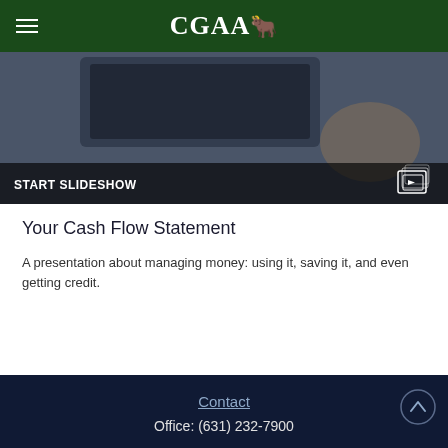CGAA
[Figure (photo): Person using a tablet, with slideshow overlay button 'START SLIDESHOW' at the bottom]
Your Cash Flow Statement
A presentation about managing money: using it, saving it, and even getting credit.
Contact
Office: (631) 232-7900